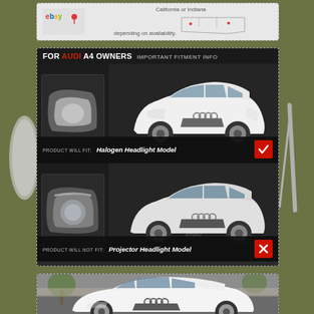[Figure (infographic): eBay shipping map infographic showing California or Indiana shipping depending on availability]
[Figure (infographic): Fitment guide for Audi A4 owners showing: Product WILL FIT Halogen Headlight Model (green checkmark), Product WILL NOT FIT Projector Headlight Model (red X). Shows images of both headlight types alongside white Audi A4 sedans.]
[Figure (photo): Photo of a white Audi A4 sedan parked outdoors near trees and a wall.]